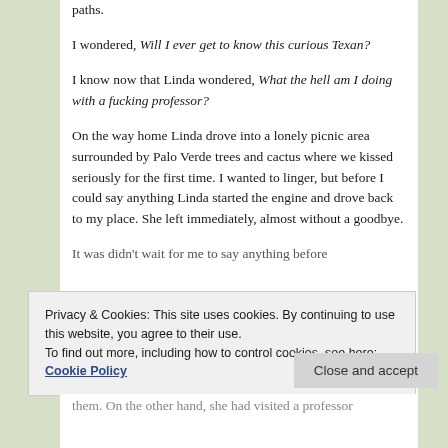paths.
I wondered, Will I ever get to know this curious Texan?
I know now that Linda wondered, What the hell am I doing with a fucking professor?
On the way home Linda drove into a lonely picnic area surrounded by Palo Verde trees and cactus where we kissed seriously for the first time. I wanted to linger, but before I could say anything Linda started the engine and drove back to my place. She left immediately, almost without a goodbye.
[partial text cut off at bottom]
Privacy & Cookies: This site uses cookies. By continuing to use this website, you agree to their use.
To find out more, including how to control cookies, see here: Cookie Policy
Close and accept